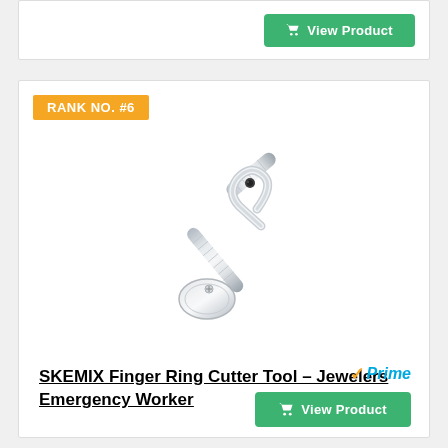View Product
RANK NO. #6
[Figure (photo): Silver metal SKEMIX Finger Ring Cutter Tool with a long handle and circular ring-cutting end with a flat disc guard]
SKEMIX Finger Ring Cutter Tool – Jewelers Emergency Worker
Prime
View Product